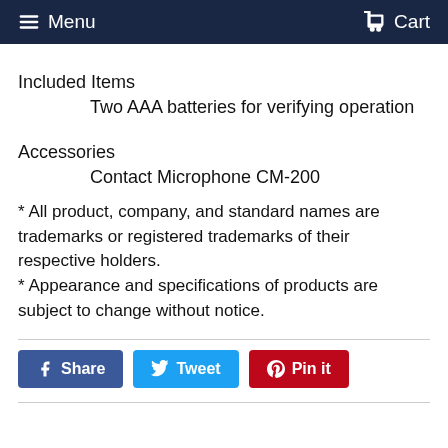Menu  Cart
Included Items
Two AAA batteries for verifying operation
Accessories
Contact Microphone CM-200
* All product, company, and standard names are trademarks or registered trademarks of their respective holders.
* Appearance and specifications of products are subject to change without notice.